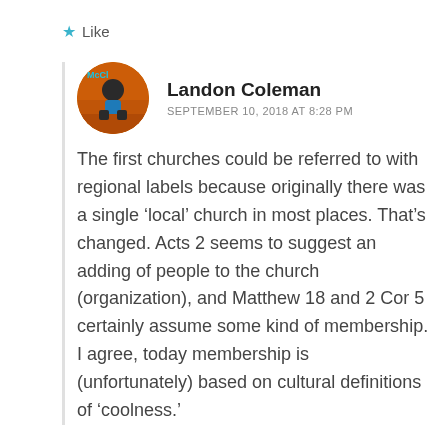★ Like
Landon Coleman
SEPTEMBER 10, 2018 AT 8:28 PM
The first churches could be referred to with regional labels because originally there was a single ‘local’ church in most places. That’s changed. Acts 2 seems to suggest an adding of people to the church (organization), and Matthew 18 and 2 Cor 5 certainly assume some kind of membership. I agree, today membership is (unfortunately) based on cultural definitions of ‘coolness.’